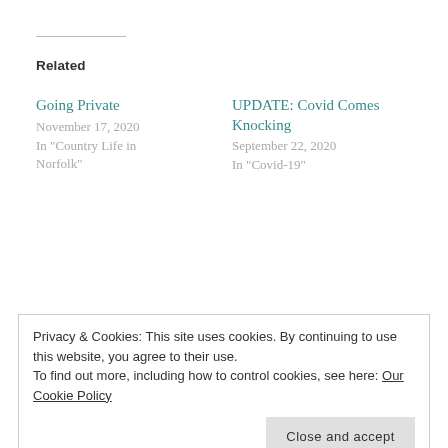Related
Going Private
November 17, 2020
In "Country Life in Norfolk"
UPDATE: Covid Comes Knocking
September 22, 2020
In "Covid-19"
A Good Runner: Part Four
July 11, 2021
In "Fiction"
POSTED IN COUNTRY LIFE IN NORFOLK
Privacy & Cookies: This site uses cookies. By continuing to use this website, you agree to their use.
To find out more, including how to control cookies, see here: Our Cookie Policy
Close and accept